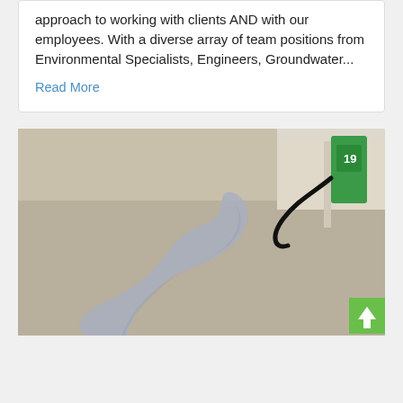approach to working with clients AND with our employees. With a diverse array of team positions from Environmental Specialists, Engineers, Groundwater...
Read More
[Figure (photo): Photo of a gas station forecourt with a liquid spill (possibly fuel or water) pooling on concrete pavement. A green fuel pump with number 19 and a black hose are visible in the background. A green back-to-top button with an upward arrow is in the bottom-right corner.]